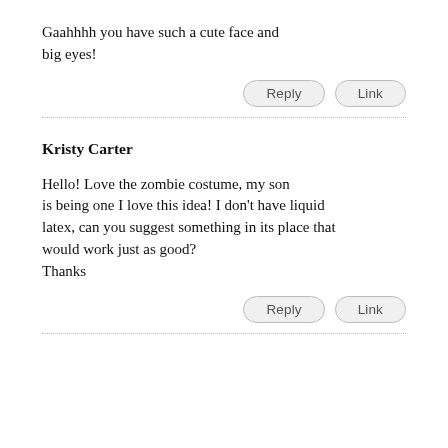Gaahhhh you have such a cute face and big eyes!
Reply   Link
Kristy Carter
Hello! Love the zombie costume, my son is being one I love this idea! I don't have liquid latex, can you suggest something in its place that would work just as good?
Thanks
Reply   Link